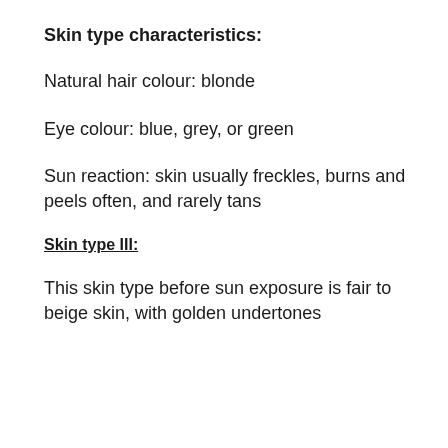Skin type characteristics:
Natural hair colour: blonde
Eye colour: blue, grey, or green
Sun reaction: skin usually freckles, burns and peels often, and rarely tans
Skin type III:
This skin type before sun exposure is fair to beige skin, with golden undertones